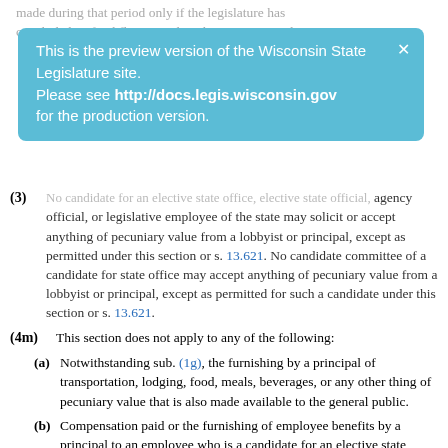made during that period only if the legislature has concluded its final floorperiod, and is not in special or
This is the preview version of the Wisconsin State Legislature site. Please see http://docs.legis.wisconsin.gov for the production version.
(3) No candidate for an elective state office, elective state official, agency official, or legislative employee of the state may solicit or accept anything of pecuniary value from a lobbyist or principal, except as permitted under this section or s. 13.621. No candidate committee of a candidate for state office may accept anything of pecuniary value from a lobbyist or principal, except as permitted for such a candidate under this section or s. 13.621.
(4m) This section does not apply to any of the following:
(a) Notwithstanding sub. (1g), the furnishing by a principal of transportation, lodging, food, meals, beverages, or any other thing of pecuniary value that is also made available to the general public.
(b) Compensation paid or the furnishing of employee benefits by a principal to an employee who is a candidate for an elective state office but who does not hold such an office if the employee is neither an agency official nor legislative employee, and if the principal or employee can demonstrate by clear and convincing evidence that the principal's employment of the employee and the compensation and